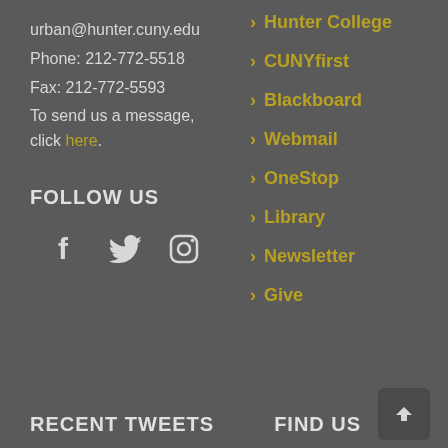urban@hunter.cuny.edu
Phone: 212-772-5518
Fax: 212-772-5593
To send us a message, click here.
FOLLOW US
[Figure (illustration): Social media icons: Facebook, Twitter, Instagram]
> Hunter College
> CUNYfirst
> Blackboard
> Webmail
> OneStop
> Library
> Newsletter
> Give
RECENT TWEETS
FIND US